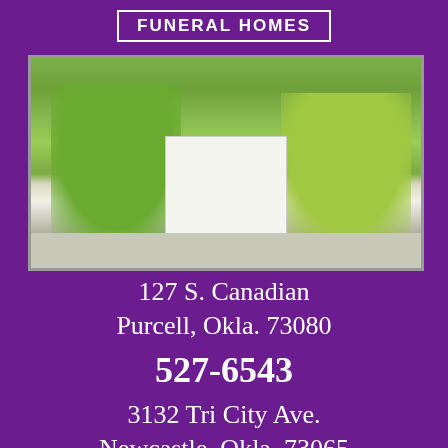FUNERAL HOMES
[Figure (photo): Exterior photo of a white colonial-style funeral home building with large green trees on either side, sidewalk in front]
127 S. Canadian
Purcell, Okla. 73080
527-6543
3132 Tri City Ave.
Newcastle, Okla. 73065